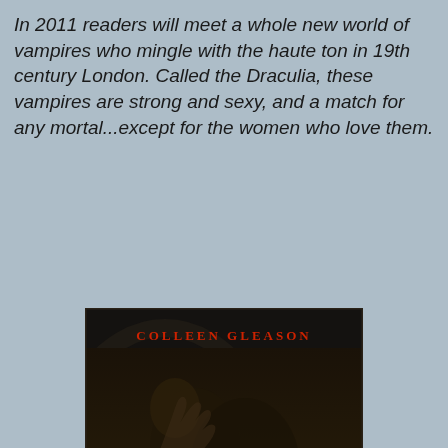In 2011 readers will meet a whole new world of vampires who mingle with the haute ton in 19th century London. Called the Draculia, these vampires are strong and sexy, and a match for any mortal...except for the women who love them.
[Figure (photo): Book cover of 'The Vampire Voss' by Colleen Gleason — dark gothic cover showing a man and woman in a dramatic embrace on a dark swirling background, with author name in red at top and title in decorative script at bottom]
The Vampire Voss
[Figure (photo): Partial view of a second book cover by Colleen Gleason, showing the author name at the top in red on a dark background, partially cropped at the bottom of the page]